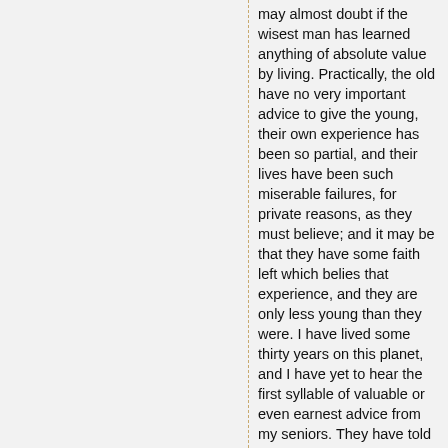may almost doubt if the wisest man has learned anything of absolute value by living. Practically, the old have no very important advice to give the young, their own experience has been so partial, and their lives have been such miserable failures, for private reasons, as they must believe; and it may be that they have some faith left which belies that experience, and they are only less young than they were. I have lived some thirty years on this planet, and I have yet to hear the first syllable of valuable or even earnest advice from my seniors. They have told me nothing, and probably cannot tell me anything, to the purpose.